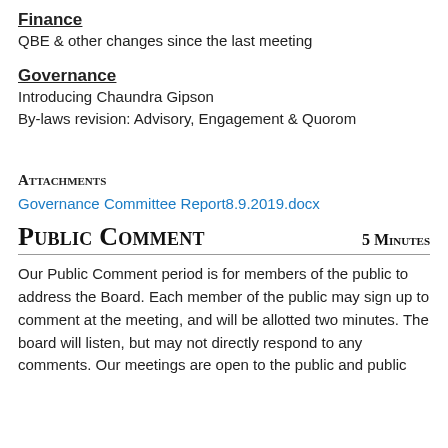Finance
QBE & other changes since the last meeting
Governance
Introducing Chaundra Gipson
By-laws revision: Advisory, Engagement & Quorom
ATTACHMENTS
Governance Committee Report8.9.2019.docx
PUBLIC COMMENT    5 MINUTES
Our Public Comment period is for members of the public to address the Board. Each member of the public may sign up to comment at the meeting, and will be allotted two minutes. The board will listen, but may not directly respond to any comments. Our meetings are open to the public and public